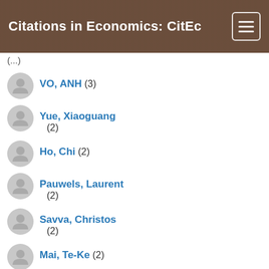Citations in Economics: CitEc
(...)
VO, ANH (3)
Yue, Xiaoguang (2)
Ho, Chi (2)
Pauwels, Laurent (2)
Savva, Christos (2)
Mai, Te-Ke (2)
Slottje, Daniel (2)
Mai, TeKe (2)
Kobayashi,